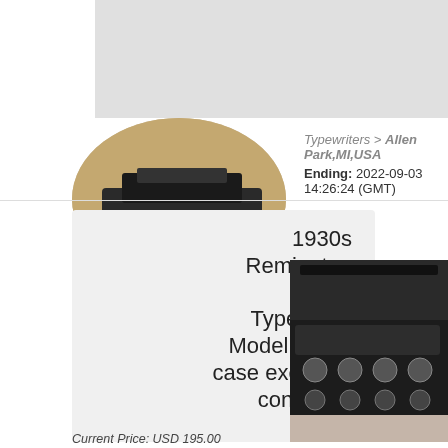[Figure (photo): Gray placeholder image at top of page]
[Figure (photo): Oval-cropped photo of a vintage typewriter on a gray surface]
Typewriters > Allen Park,MI,USA
Ending: 2022-09-03 14:26:24 (GMT)
1930s Remington Rand Typewriter Model 1 with case excellent condition.
[Figure (photo): Close-up photo of typewriter keys/mechanism, dark background]
Current Price: USD 195.00